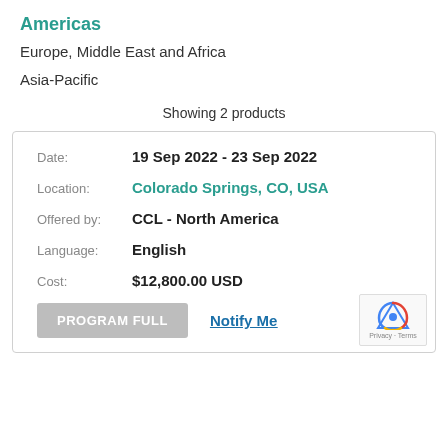Americas
Europe, Middle East and Africa
Asia-Pacific
Showing 2 products
| Field | Value |
| --- | --- |
| Date: | 19 Sep 2022 - 23 Sep 2022 |
| Location: | Colorado Springs, CO, USA |
| Offered by: | CCL - North America |
| Language: | English |
| Cost: | $12,800.00 USD |
PROGRAM FULL   Notify Me